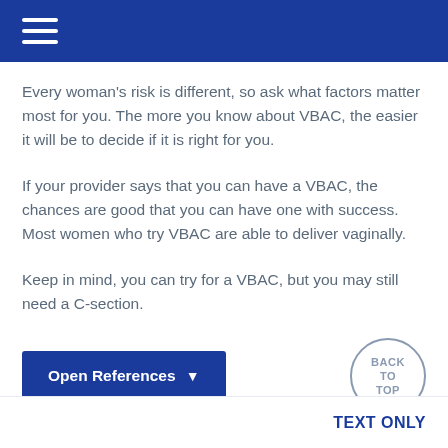Every woman's risk is different, so ask what factors matter most for you. The more you know about VBAC, the easier it will be to decide if it is right for you.
If your provider says that you can have a VBAC, the chances are good that you can have one with success. Most women who try VBAC are able to deliver vaginally.
Keep in mind, you can try for a VBAC, but you may still need a C-section.
Open References
TEXT ONLY